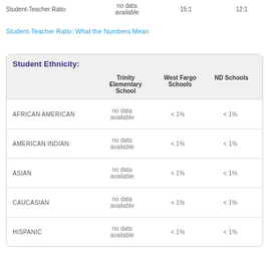|  | Trinity Elementary School | West Fargo Schools | ND Schools |
| --- | --- | --- | --- |
| Student-Teacher Ratio | no data available | 15:1 | 12:1 |
Student-Teacher Ratio: What the Numbers Mean
| Student Ethnicity: | Trinity Elementary School | West Fargo Schools | ND Schools |
| --- | --- | --- | --- |
| AFRICAN AMERICAN | no data available | < 1% | < 1% |
| AMERICAN INDIAN | no data available | < 1% | < 1% |
| ASIAN | no data available | < 1% | < 1% |
| CAUCASIAN | no data available | < 1% | < 1% |
| HISPANIC | no data available | < 1% | < 1% |